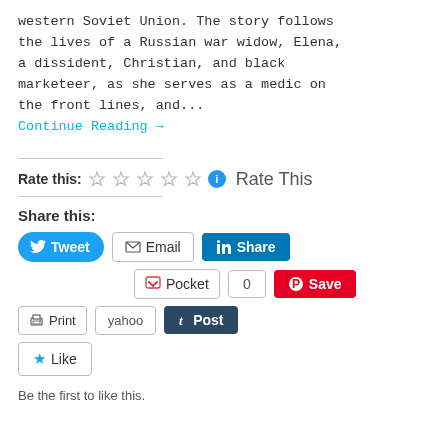western Soviet Union. The story follows the lives of a Russian war widow, Elena, a dissident, Christian, and black marketeer, as she serves as a medic on the front lines, and...
Continue Reading →
Rate this: ☆☆☆☆☆ ℹ Rate This
Share this:
Tweet | Email | Share | Pocket | 0 | Save | Print | yahoo | Post | Like
Be the first to like this.